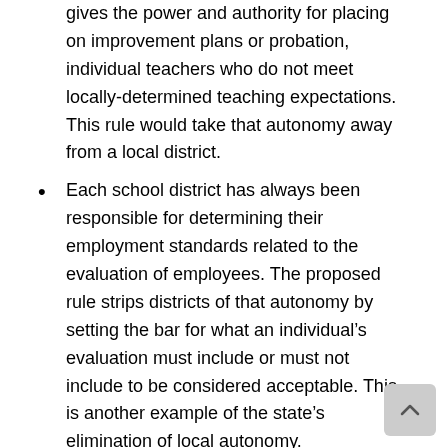gives the power and authority for placing on improvement plans or probation, individual teachers who do not meet locally-determined teaching expectations. This rule would take that autonomy away from a local district.
Each school district has always been responsible for determining their employment standards related to the evaluation of employees. The proposed rule strips districts of that autonomy by setting the bar for what an individual's evaluation must include or must not include to be considered acceptable. This is another example of the state's elimination of local autonomy.
Recruitment and Retention of Quality Staff